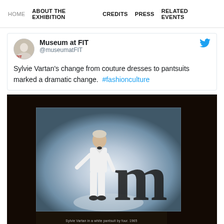HOME  ABOUT THE EXHIBITION  CREDITS  PRESS  RELATED EVENTS
Museum at FIT @museumatFIT
Sylvie Vartan's change from couture dresses to pantsuits marked a dramatic change.  #fashionculture
[Figure (photo): Black and white projected photograph displayed in a dark room showing a person (Sylvie Vartan) in a white pantsuit standing in front of a large letter 'm', with the caption 'Sylvie Vartan in a white pantsuit by four. 1965']